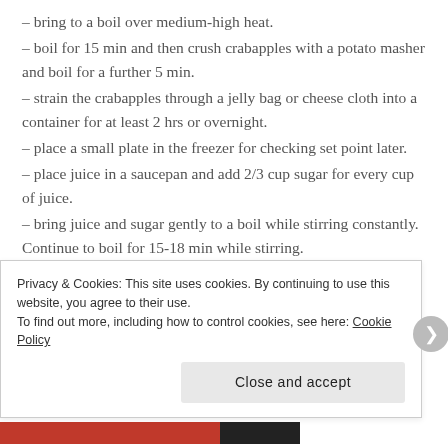– bring to a boil over medium-high heat.
– boil for 15 min and then crush crabapples with a potato masher and boil for a further 5 min.
– strain the crabapples through a jelly bag or cheese cloth into a container for at least 2 hrs or overnight.
– place a small plate in the freezer for checking set point later.
– place juice in a saucepan and add 2/3 cup sugar for every cup of juice.
– bring juice and sugar gently to a boil while stirring constantly. Continue to boil for 15-18 min while stirring.
Privacy & Cookies: This site uses cookies. By continuing to use this website, you agree to their use. To find out more, including how to control cookies, see here: Cookie Policy
Close and accept